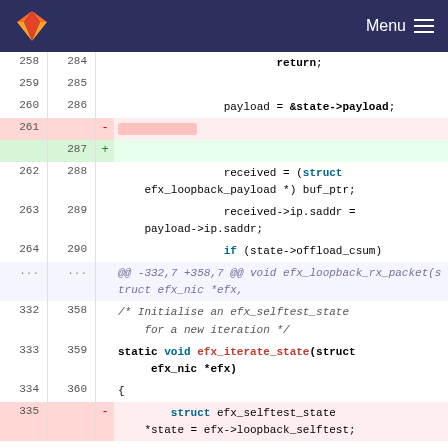GitLab — Menu
[Figure (screenshot): GitLab code diff view showing changes to a C source file. Lines 258-264 (old) / 284-290 (new) show context around a diff where line 261 is deleted and line 287 is added (empty). Lines 332-335 show another hunk with a function definition for efx_iterate_state and a deleted struct line.]